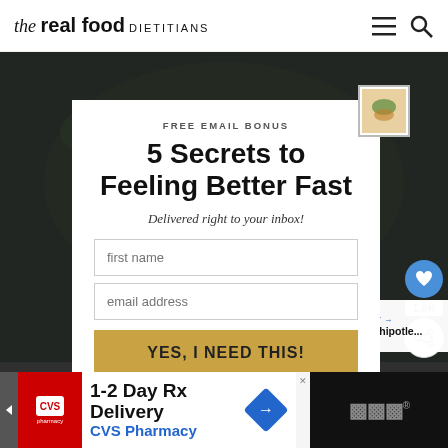the real food DIETITIANS
[Figure (photo): Dark food photography background showing a bowl/plate with colorful vegetables and greens, dimly lit]
FREE EMAIL BONUS
5 Secrets to Feeling Better Fast
Delivered right to your inbox!
first name
email address
YES, I NEED THIS!
[Figure (photo): Small thumbnail image in top right of modal, appears to show a food/recipe photo]
WHAT'S NEXT → Sheet Pan Chipotle...
[Figure (photo): Small thumbnail showing sheet pan chipotle dish]
[Figure (screenshot): CVS Pharmacy advertisement: 1-2 Day Rx Delivery, CVS Pharmacy]